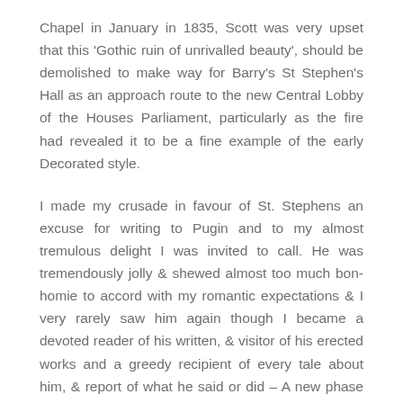Chapel in January in 1835, Scott was very upset that this 'Gothic ruin of unrivalled beauty', should be demolished to make way for Barry's St Stephen's Hall as an approach route to the new Central Lobby of the Houses Parliament, particularly as the fire had revealed it to be a fine example of the early Decorated style.
I made my crusade in favour of St. Stephens an excuse for writing to Pugin and to my almost tremulous delight I was invited to call. He was tremendously jolly & shewed almost too much bon-homie to accord with my romantic expectations & I very rarely saw him again though I became a devoted reader of his written, & visitor of his erected works and a greedy recipient of every tale about him, & report of what he said or did – A new phase had come over me, thoroughly en rapport with my early taste, but in utter discord with the 'fitful fever'